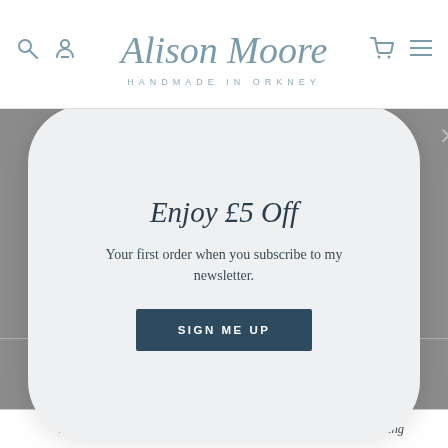Alison Moore — HANDMADE IN ORKNEY
Related products
[Figure (screenshot): Popup modal overlay with newsletter signup offer]
Enjoy £5 Off
Your first order when you subscribe to my newsletter.
SIGN ME UP
Silver Vine Leaf Ring
Solid Gold 2mm Halo Ring